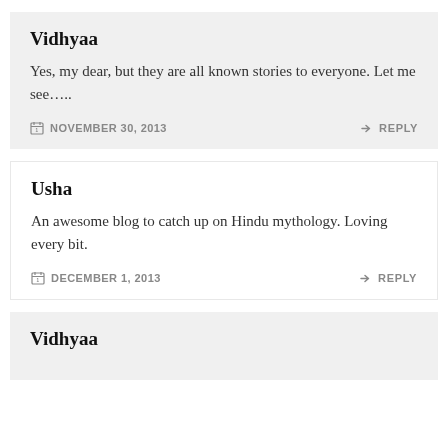Vidhyaa
Yes, my dear, but they are all known stories to everyone. Let me see…..
NOVEMBER 30, 2013
REPLY
Usha
An awesome blog to catch up on Hindu mythology. Loving every bit.
DECEMBER 1, 2013
REPLY
Vidhyaa